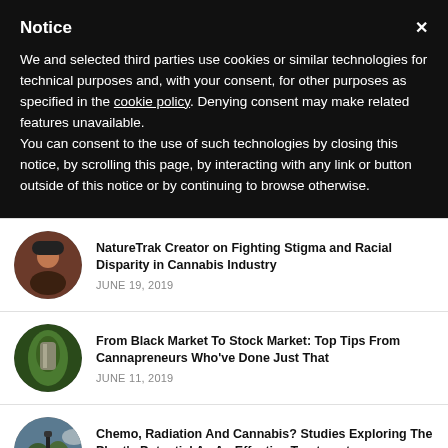Notice
We and selected third parties use cookies or similar technologies for technical purposes and, with your consent, for other purposes as specified in the cookie policy. Denying consent may make related features unavailable.
You can consent to the use of such technologies by closing this notice, by scrolling this page, by interacting with any link or button outside of this notice or by continuing to browse otherwise.
NatureTrak Creator on Fighting Stigma and Racial Disparity in Cannabis Industry
JUNE 19, 2019
From Black Market To Stock Market: Top Tips From Cannapreneurs Who've Done Just That
JUNE 11, 2019
Chemo, Radiation And Cannabis? Studies Exploring The Plant's Potential As An Effective Treatment
JUNE 6, 2019